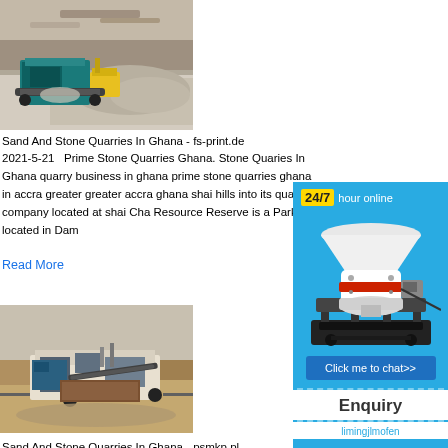[Figure (photo): Quarry site with mining crusher machines and gravel mounds]
Sand And Stone Quarries In Ghana - fs-print.de
2021-5-21   Prime Stone Quarries Ghana. Stone Quaries In Ghana quarry business in ghana prime stone quarries ghana in accra greater greater accra ghana shai hills into its quarry company located at shai Cha Resource Reserve is a Park located in Dam
Read More
[Figure (photo): Aerial view of quarry processing equipment and machinery]
Sand And Stone Quarries In Ghana - psmkp.pl
[Figure (infographic): Sidebar advertisement with '24/7 hour online' badge, stone crusher machine image, 'Click me to chat>>' button, 'Enquiry' text, and 'limingjlmofen' text]